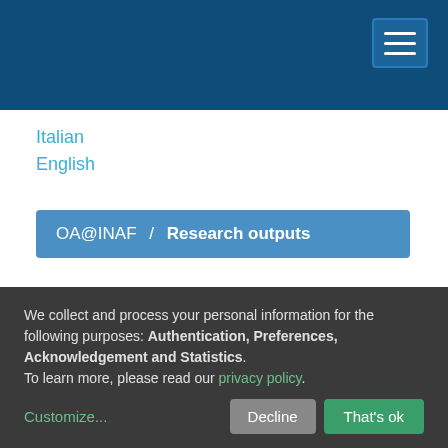OA@INAF header navigation bar
Italian
English
OA@INAF / Research outputs
Browsing by Author > Padovani, Marco
We collect and process your personal information for the following purposes: Authentication, Preferences, Acknowledgement and Statistics. To learn more, please read our privacy policy.
Customize...
Decline
That's ok